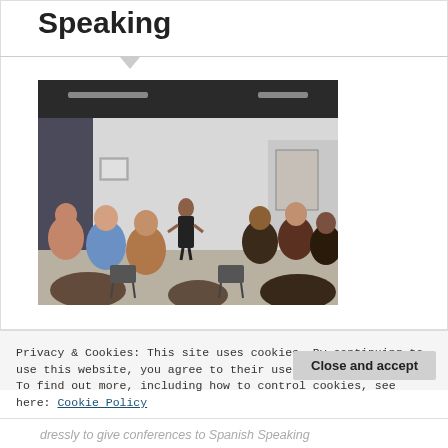Speaking
[Figure (photo): A woman in a black dress stands on a stage presenting to a seated audience in a modern indoor event space. Audience members are applauding. A flipchart stand is visible to the right and curtains to the left.]
Privacy & Cookies: This site uses cookies. By continuing to use this website, you agree to their use.
To find out more, including how to control cookies, see here: Cookie Policy
Close and accept
dressly to give conferences to Spanish Speaking